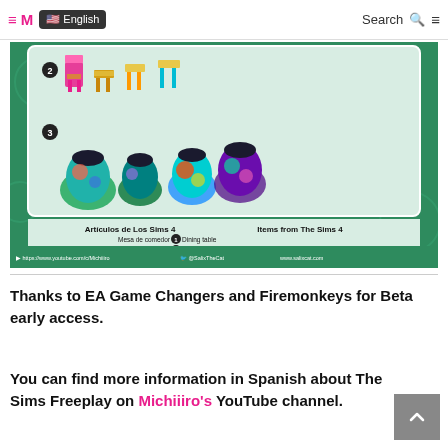≡ M 🇺🇸 English    Search Q ≡
[Figure (illustration): Screenshot from a Sims 4 / YouTube thumbnail showing colorful dining chairs, stools, and decorative painted pottery vases on a teal/green background, with a legend listing items in Spanish and English: Mesa de comedor / Dining table (1), Silla de comedor / Dining chair (2), Jarrones de cerámica con pintura decorativa / Decorative painted pottery vases (3). Bottom bar shows YouTube and Twitter links: https://www.youtube.com/c/Michiiiro, @SalixTheCat, www.salixcat.com]
Thanks to EA Game Changers and Firemonkeys for Beta early access.
You can find more information in Spanish about The Sims Freeplay on Michiiiro's YouTube channel.